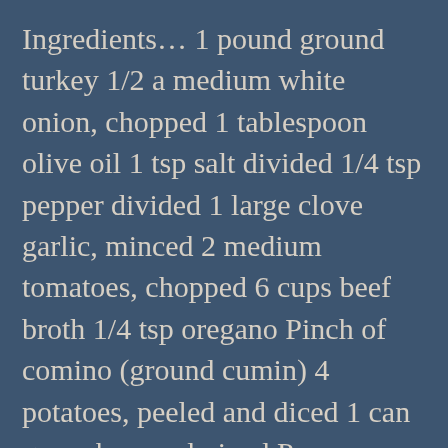Ingredients... 1 pound ground turkey 1/2 a medium white onion, chopped 1 tablespoon olive oil 1 tsp salt divided 1/4 tsp pepper divided 1 large clove garlic, minced 2 medium tomatoes, chopped 6 cups beef broth 1/4 tsp oregano Pinch of comino (ground cumin) 4 potatoes, peeled and diced 1 can green beans, drained Process... Cook the ground turkey, season with 1/2 the salt salt and 1/2 the pepper, drain any fat, set aside In a stock pot heat oil to medium high Add